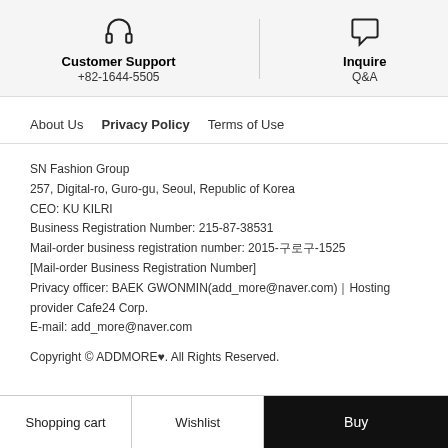Customer Support
+82-1644-5505
Inquire
Q&A
About Us
Privacy Policy
Terms of Use
SN Fashion Group
257, Digital-ro, Guro-gu, Seoul, Republic of Korea
CEO: KU KILRI
Business Registration Number: 215-87-38531
Mail-order business registration number: 2015-구로구-1525
[Mail-order Business Registration Number]
Privacy officer: BAEK GWONMIN(add_more@naver.com) | Hosting provider Cafe24 Corp.
E-mail: add_more@naver.com
Copyright © ADDMORE♥. All Rights Reserved.
Shopping cart
Wishlist
Buy